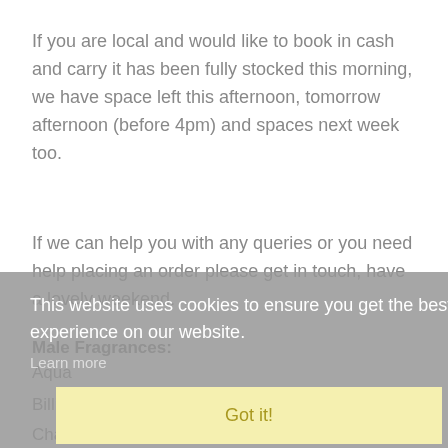If you are local and would like to book in cash and carry it has been fully stocked this morning, we have space left this afternoon, tomorrow afternoon (before 4pm) and spaces next week too.
If we can help you with any queries or you need help placing an order please get in touch, have a lovely weekend.
This website uses cookies to ensure you get the best experience on our website.
Learn more
Got it!
Male Fragrances:
Aqua
Billionaire
Charm
Devil
Escape